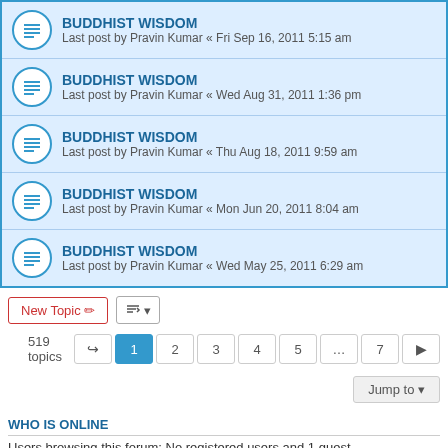BUDDHIST WISDOM — Last post by Pravin Kumar « Fri Sep 16, 2011 5:15 am
BUDDHIST WISDOM — Last post by Pravin Kumar « Wed Aug 31, 2011 1:36 pm
BUDDHIST WISDOM — Last post by Pravin Kumar « Thu Aug 18, 2011 9:59 am
BUDDHIST WISDOM — Last post by Pravin Kumar « Mon Jun 20, 2011 8:04 am
BUDDHIST WISDOM — Last post by Pravin Kumar « Wed May 25, 2011 6:29 am
519 topics  1 2 3 4 5 ... 7
WHO IS ONLINE
Users browsing this forum: No registered users and 1 guest
FORUM PERMISSIONS
You cannot post new topics in this forum
You cannot reply to topics in this forum
You cannot edit your posts in this forum